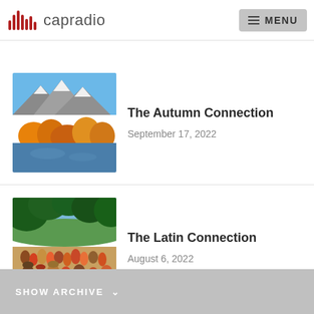capradio
[Figure (photo): Mountain lake with autumn orange/yellow aspen trees and snow-capped peaks under blue sky]
The Autumn Connection
September 17, 2022
[Figure (photo): Outdoor gathering scene with people in colorful clothing under trees, resembling a Latin festival or market]
The Latin Connection
August 6, 2022
SHOW ARCHIVE